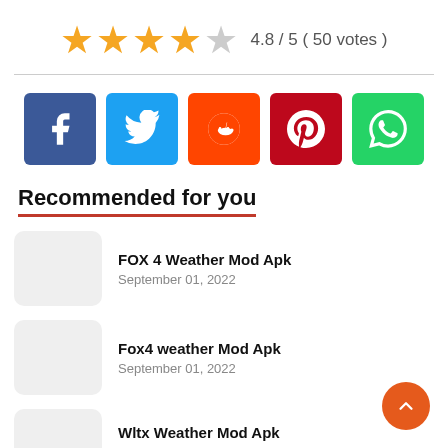[Figure (infographic): Star rating: 4 full orange stars and 1 gray star, with text '4.8 / 5 ( 50 votes )']
[Figure (infographic): Social media share buttons: Facebook, Twitter, Reddit, Pinterest, WhatsApp]
Recommended for you
FOX 4 Weather Mod Apk
September 01, 2022
Fox4 weather Mod Apk
September 01, 2022
Wltx Weather Mod Apk
September 01, 2022